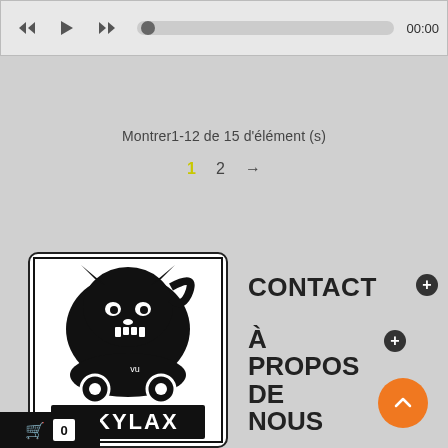[Figure (screenshot): Audio player bar with rewind, play, fast-forward buttons, a progress bar with a dot indicator, and a time display showing 00:00]
Montrer1-12 de 15 d'élément (s)
1  2  →
[Figure (logo): Skylax label logo — black and white illustration of a roaring panther/jaguar above the text SKYLAX in bold lettering]
CONTACT
À PROPOS DE NOUS